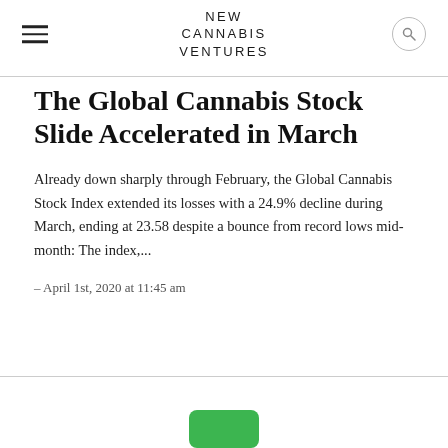NEW CANNABIS VENTURES
The Global Cannabis Stock Slide Accelerated in March
Already down sharply through February, the Global Cannabis Stock Index extended its losses with a 24.9% decline during March, ending at 23.58 despite a bounce from record lows mid-month: The index,...
- April 1st, 2020 at 11:45 am